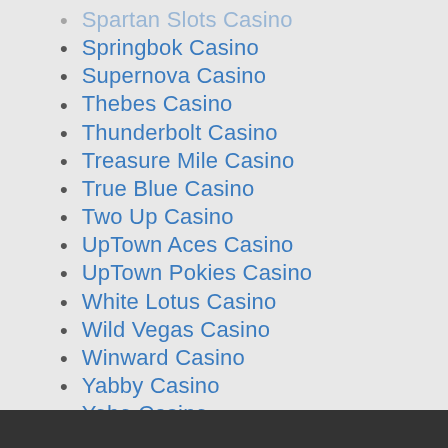Spartan Slots Casino
Springbok Casino
Supernova Casino
Thebes Casino
Thunderbolt Casino
Treasure Mile Casino
True Blue Casino
Two Up Casino
UpTown Aces Casino
UpTown Pokies Casino
White Lotus Casino
Wild Vegas Casino
Winward Casino
Yabby Casino
Yebo Casino